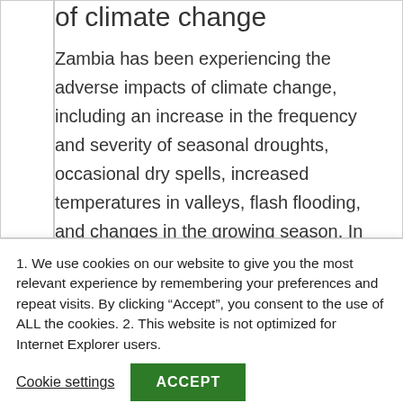of climate change
Zambia has been experiencing the adverse impacts of climate change, including an increase in the frequency and severity of seasonal droughts, occasional dry spells, increased temperatures in valleys, flash flooding, and changes in the growing season. In response to these impacts, Zambia is working
1. We use cookies on our website to give you the most relevant experience by remembering your preferences and repeat visits. By clicking “Accept”, you consent to the use of ALL the cookies. 2. This website is not optimized for Internet Explorer users.
Cookie settings
ACCEPT